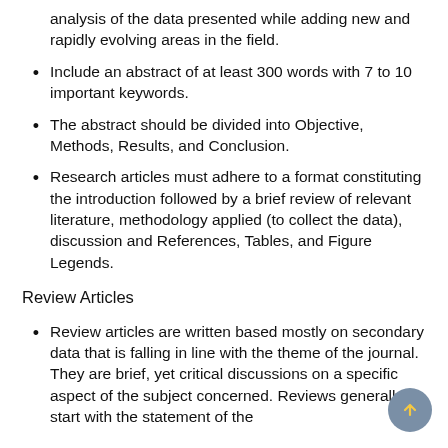analysis of the data presented while adding new and rapidly evolving areas in the field.
Include an abstract of at least 300 words with 7 to 10 important keywords.
The abstract should be divided into Objective, Methods, Results, and Conclusion.
Research articles must adhere to a format constituting the introduction followed by a brief review of relevant literature, methodology applied (to collect the data), discussion and References, Tables, and Figure Legends.
Review Articles
Review articles are written based mostly on secondary data that is falling in line with the theme of the journal. They are brief, yet critical discussions on a specific aspect of the subject concerned. Reviews generally start with the statement of the